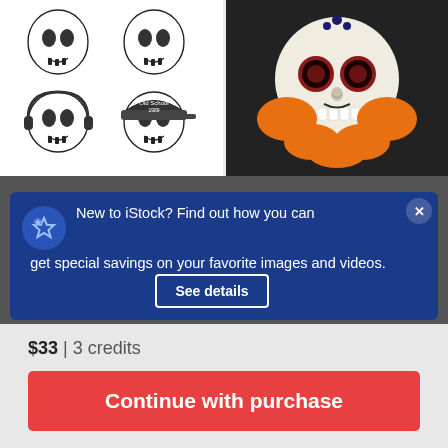[Figure (illustration): Two rows of black and white skull illustrations on white background: plain skulls on top row, skulls with headphones and baseball cap on bottom row]
[Figure (illustration): Colorful sugar skull (Day of the Dead) illustration with red ornate eye sockets, orange marigold flowers, mustache, on black background]
New to iStock? Find out how you can get special savings on your favorite images and videos.
See details
$33 | 3 credits
Continue with purchase